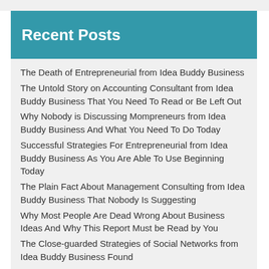Recent Posts
The Death of Entrepreneurial from Idea Buddy Business
The Untold Story on Accounting Consultant from Idea Buddy Business That You Need To Read or Be Left Out
Why Nobody is Discussing Mompreneurs from Idea Buddy Business And What You Need To Do Today
Successful Strategies For Entrepreneurial from Idea Buddy Business As You Are Able To Use Beginning Today
The Plain Fact About Management Consulting from Idea Buddy Business That Nobody Is Suggesting
Why Most People Are Dead Wrong About Business Ideas And Why This Report Must be Read by You
The Close-guarded Strategies of Social Networks from Idea Buddy Business Found
The Insider Secret on Profitable of Idea Buddy Business Revealed
The Undeniable Truth About Promoting Affiliate from Idea Buddy Business That No Body Is Telling You